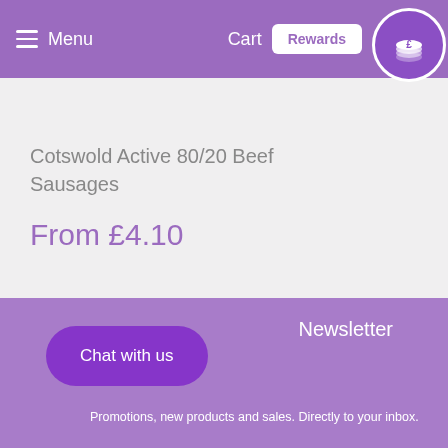Menu | Cart | Rewards
Cotswold Active 80/20 Beef Sausages
From £4.10
Chat with us
Newsletter
Promotions, new products and sales. Directly to your inbox.